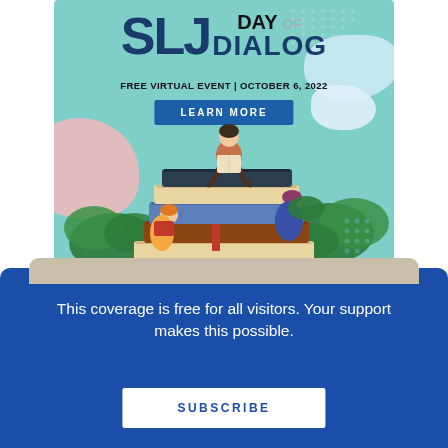[Figure (illustration): SLJ Day of Dialog advertisement banner with teal background, decorative blobs, illustrated people reading books stacked in a pile, with 'FREE VIRTUAL EVENT | OCTOBER 6, 2022' subtitle and 'LEARN MORE' button]
This coverage is free for all visitors. Your support makes this possible.
SUBSCRIBE